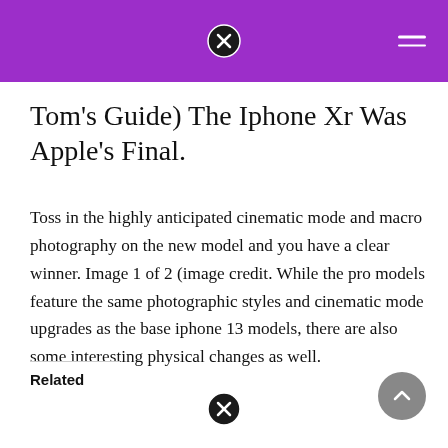Tom's Guide
Tom's Guide) The Iphone Xr Was Apple's Final.
Toss in the highly anticipated cinematic mode and macro photography on the new model and you have a clear winner. Image 1 of 2 (image credit. While the pro models feature the same photographic styles and cinematic mode upgrades as the base iphone 13 models, there are also some interesting physical changes as well.
Related